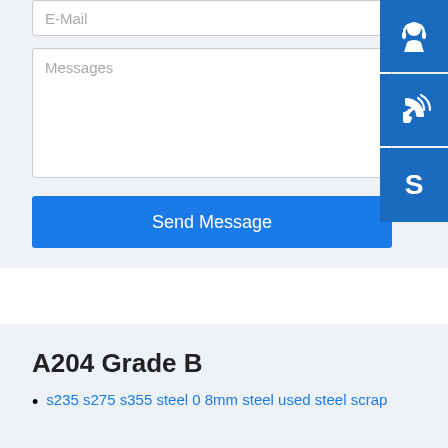E-Mail
Messages
Send Message
[Figure (illustration): Three blue icon buttons on the right side: headset/support icon, phone with signal waves icon, and Skype logo icon]
A204 Grade B
s235 s275 s355 steel 0 8mm steel used steel scrap